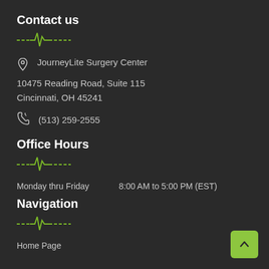Contact us
[Figure (illustration): Green heartbeat/EKG line divider decoration]
JourneyLite Surgery Center
10475 Reading Road, Suite 115
Cincinnati, OH 45241
(513) 259-2555
Office Hours
[Figure (illustration): Green heartbeat/EKG line divider decoration]
Monday thru Friday    8:00 AM to 5:00 PM (EST)
Navigation
[Figure (illustration): Green heartbeat/EKG line divider decoration]
Home Page